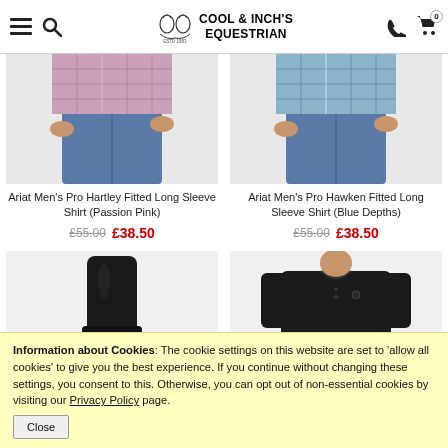Cool & Inch's Equestrian — navigation header with menu, search, logo, phone, and cart icons
[Figure (photo): Partial view of a man wearing a plaid pink/purple shirt and jeans — product image for Ariat Men's Pro Hartley Fitted Long Sleeve Shirt (Passion Pink)]
[Figure (photo): Partial view of a man wearing a blue plaid shirt and jeans — product image for Ariat Men's Pro Hawken Fitted Long Sleeve Shirt (Blue Depths)]
Ariat Men's Pro Hartley Fitted Long Sleeve Shirt (Passion Pink)
£55.00  £38.50
Ariat Men's Pro Hawken Fitted Long Sleeve Shirt (Blue Depths)
£55.00  £38.50
[Figure (photo): Black riding boot product image]
[Figure (photo): Man wearing a black long-sleeve polo/shirt product image]
Information about Cookies: The cookie settings on this website are set to 'allow all cookies' to give you the best experience. If you continue without changing these settings, you consent to this. Otherwise, you can opt out of non-essential cookies by visiting our Privacy Policy page.